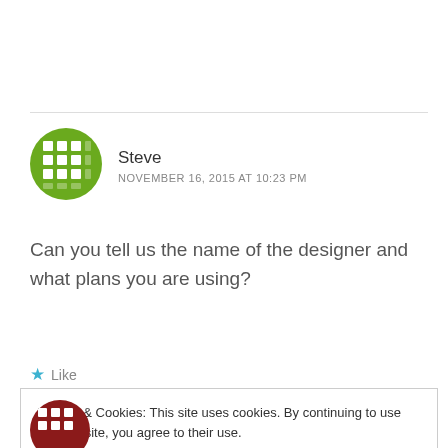[Figure (illustration): Green waffle/grid pattern circular avatar icon for user Steve]
Steve
NOVEMBER 16, 2015 AT 10:23 PM
Can you tell us the name of the designer and what plans you are using?
Like
Privacy & Cookies: This site uses cookies. By continuing to use this website, you agree to their use.
To find out more, including how to control cookies, see here: Cookie Policy
Close and accept